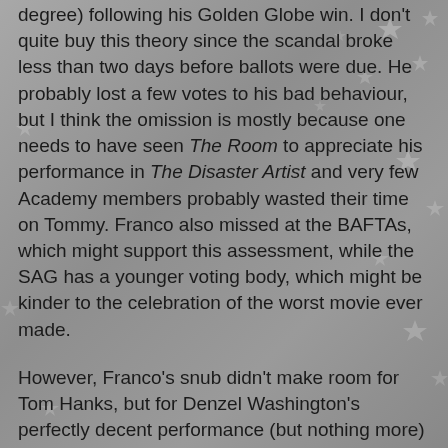degree) following his Golden Globe win. I don't quite buy this theory since the scandal broke less than two days before ballots were due. He probably lost a few votes to his bad behaviour, but I think the omission is mostly because one needs to have seen The Room to appreciate his performance in The Disaster Artist and very few Academy members probably wasted their time on Tommy. Franco also missed at the BAFTAs, which might support this assessment, while the SAG has a younger voting body, which might be kinder to the celebration of the worst movie ever made.
However, Franco's snub didn't make room for Tom Hanks, but for Denzel Washington's perfectly decent performance (but nothing more) in Dan Gilroy's crappy legal drama Roman J. Israel, Esq. The film was one of the huge critical bombs at TIFF and failed to connect with critics and audiences upon its release. Also giving cause for eyeballs to roll was the screenplay for Logan, which somehow made history as the first superhero movie to land a writing nomination. It bested the likes of Sofia Coppola's The Beguiled, Todd Haynes's Wonderstruck, and Angelina Jolie's